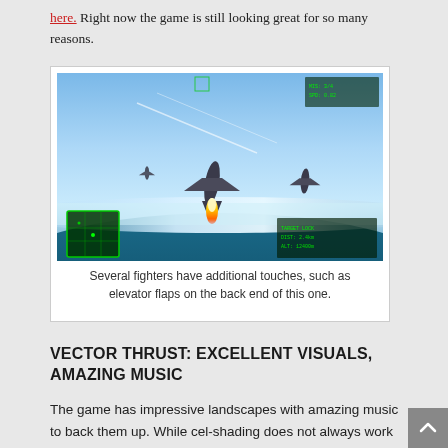here. Right now the game is still looking great for so many reasons.
[Figure (screenshot): Screenshot of a flight combat video game showing fighter jets flying at high altitude with a curved horizon, blue sky, jet engine flame, mini-map in lower left corner, and HUD elements.]
Several fighters have additional touches, such as elevator flaps on the back end of this one.
VECTOR THRUST: EXCELLENT VISUALS, AMAZING MUSIC
The game has impressive landscapes with amazing music to back them up. While cel-shading does not always work with a game the form they used here really did. All the planes look great with a metallic sheen that could only work with that form of rendering.